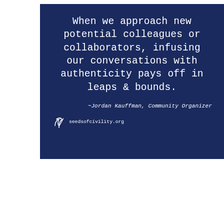[Figure (illustration): Dark navy blue quote card with white handwritten-style text reading 'When we approach new potential colleagues or collaborators, infusing our conversations with authenticity pays off in leaps & bounds.' Attribution: '~Jordan Kauffman, Community Organizer'. Seeds of Civility logo at bottom left with seedsofcivility.org text.]
Learning the craft of the relational meeting is absolutely a practice-makes-perfect thing, and one I am still working on! What has been fascinating to me, though, is how this method of setting an intention of exploring a public relationship related to a mutual interest or common goal and then